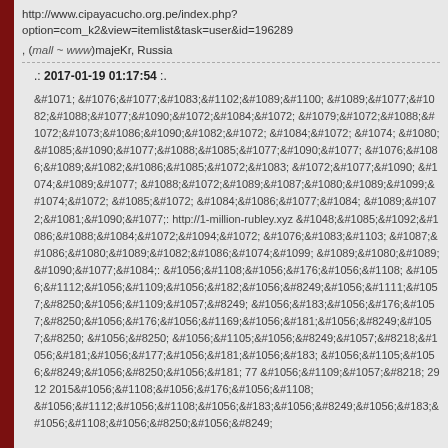http://www.cipayacucho.org.pe/index.php?option=com_k2&view=itemlist&task=user&id=196289
, (mall ~ www)majeKr, Russia
.: 2017-01-19 01:17:54 :.
&#1071; &#1076;&#1077;&#1083;&#1102;&#1089;&#1100; &#1089;&#1077;&#1082;&#1088;&#1077;&#1090;&#1086;&#1084;&#1072;&#1084;&#1072; &#1079;&#1072;&#1088;&#1072;&#1073;&#1086;&#1090;&#1082;&#1072;&#1084;&#1072; &#1074; &#1080;&#1085;&#1090;&#1077;&#1088;&#1085;&#1077;&#1090;&#1077; &#1076;&#1086;&#1089;&#1082;&#1086;&#1085;&#1072;&#1083;&#1100;&#1085;&#1086; &#1074;&#1089;&#1077; &#1088;&#1072;&#1089;&#1087;&#1080;&#1089;&#1099;&#1074;&#1072;&#1077;&#1090; &#1085;&#1072; &#1084;&#1086;&#1077;&#1084; &#1089;&#1072;&#1081;&#1090;&#1077;: http://1-million-rubley.xyz &#1048;&#1085;&#1092;&#1086;&#1088;&#1084;&#1072;&#1094;&#1080;&#1103; &#1085;&#1072; &#1089;&#1072;&#1081;&#1090;&#1077; &#1087;&#1086;&#1080;&#1089;&#1082;&#1086;&#1074;&#1099;&#1081; &#1089;&#1080;&#1089;&#1090;&#1077;&#1084;&#1072;. &#1056;&#1108;&#1056;&#176;&#1056;&#1108;. &#1056;&#1112;&#1056;&#1109;&#1056;&#182;&#1056;&#8249;&#1056;&#1111;&#1057;&#8250;&#1056;&#1109;&#1057;&#8249;. &#1056;&#183;&#1056;&#176;&#1057;&#8250;&#1056;&#176;&#1056;&#1169;&#1056;&#181;&#1056;&#8249;&#1057;&#8250;. &#1056;&#8250;. &#1056;&#1105;&#1056;&#8249;&#1057;&#8218;&#1056;&#181;&#1056;&#177;&#1056;&#181;&#1056;&#183;. &#1056;&#1105;&#1056;&#8249;&#1056;&#8250;&#1056;&#181; 77 &#1056;&#1109;&#1057;&#8218; 29 12 2015&#1056;&#1108;&#1056;&#176;&#1056;&#1108;.